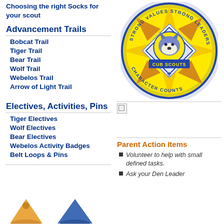Choosing the right Socks for your scout
Advancement Trails
Bobcat Trail
Tiger Trail
Bear Trail
Wolf Trail
Webelos Trail
Arrow of Light Trail
Electives, Activities, Pins
Tiger Electives
Wolf Electives
Bear Electives
Webelos Activity Badges
Belt Loops & Pins
[Figure (logo): Cub Scouts circular logo with yellow star compass design, wolf head in center, text reading STRONG VALUES STRONG LEADERS around top and CHARACTER COUNTS around bottom, CUB SCOUTS in center]
[Figure (photo): Small broken/loading image placeholder]
Parent Action Items
Volunteer to help with small defined tasks.
Ask your Den Leader
[Figure (illustration): Two triangular/mountain shapes in orange and blue at bottom left of page]